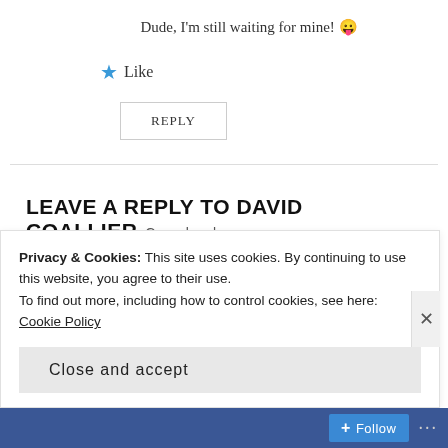Dude, I'm still waiting for mine! 😛
★ Like
REPLY
LEAVE A REPLY TO DAVID COALLIER Cancel reply
Your email address will not be published. Required fields are marked *
Comment *
Privacy & Cookies: This site uses cookies. By continuing to use this website, you agree to their use.
To find out more, including how to control cookies, see here: Cookie Policy
Close and accept
Follow